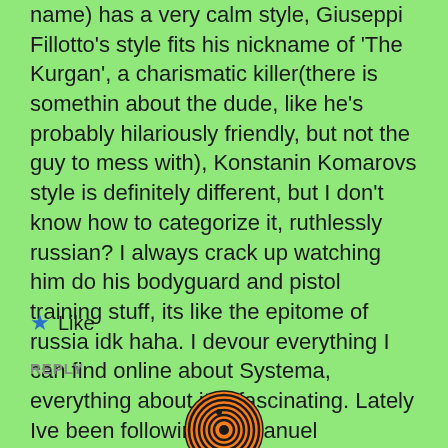name) has a very calm style, Giuseppi Fillotto's style fits his nickname of 'The Kurgan', a charismatic killer(there is somethin about the dude, like he's probably hilariously friendly, but not the guy to mess with), Konstanin Komarovs style is definitely different, but I don't know how to categorize it, ruthlessly russian? I always crack up watching him do his bodyguard and pistol training stuff, its like the epitome of russia idk haha. I devour everything I can find online about Systema, everything about it is fascinating. Lately Ive been following Emmanuel Manolakis's lessons he puts on his youtube channel now because of the magical flu nonsense. His lesson on how to get used to handling sharp knives is ingenious.
★ Like
REPLY
[Figure (logo): Circular spiral logo with orange and black concentric rings, resembling a target or fingerprint design.]